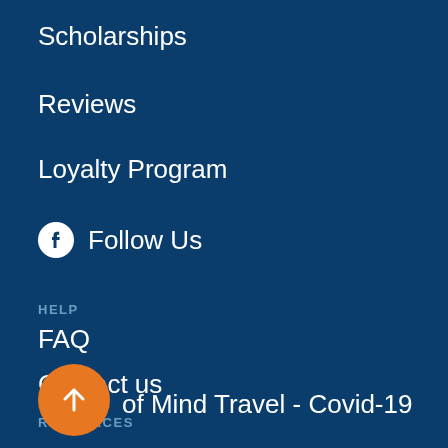Scholarships
Reviews
Loyalty Program
Follow Us
HELP
FAQ
Contact us
RESOURCES
Peace of Mind Travel - Covid-19